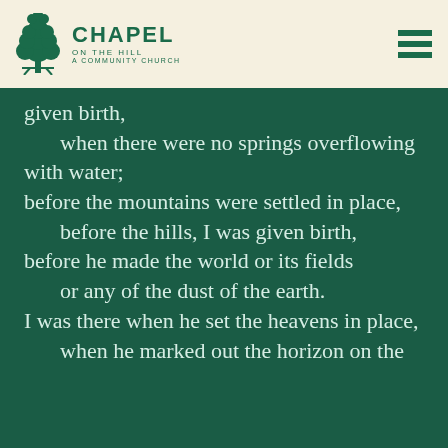[Figure (logo): Chapel on the Hill - A Community Church logo with tree icon]
given birth,
    when there were no springs overflowing with water;
before the mountains were settled in place,
    before the hills, I was given birth,
before he made the world or its fields
    or any of the dust of the earth.
I was there when he set the heavens in place,
    when he marked out the horizon on the